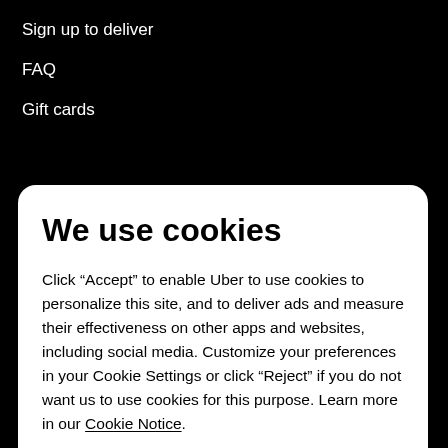Sign up to deliver
FAQ
Gift cards
We use cookies
Click “Accept” to enable Uber to use cookies to personalize this site, and to deliver ads and measure their effectiveness on other apps and websites, including social media. Customize your preferences in your Cookie Settings or click “Reject” if you do not want us to use cookies for this purpose. Learn more in our Cookie Notice.
Cookie settings
Reject
Accept